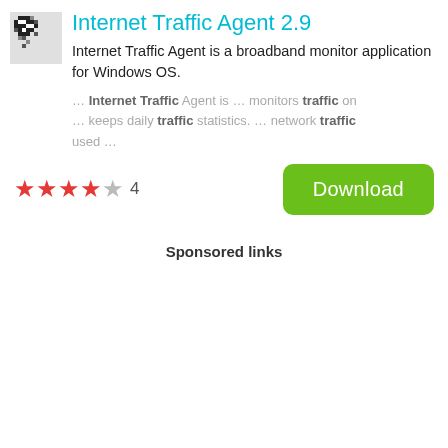Internet Traffic Agent 2.9
Internet Traffic Agent is a broadband monitor application for Windows OS.
… Internet Traffic Agent is … monitors traffic on … keeps daily traffic statistics. … network traffic used …
[Figure (other): App icon showing a pixelated lightning/network symbol]
★★★★☆ 4
Download
Sponsored links